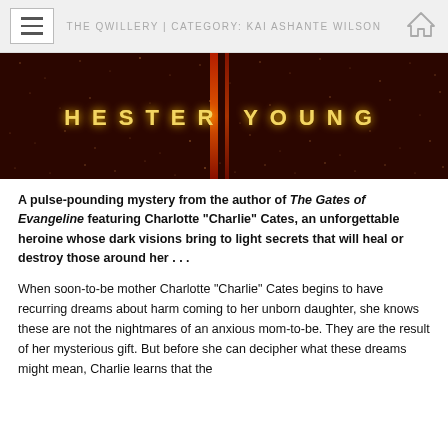THE QWILLERY | CATEGORY: KAI ASHANTE WILSON
[Figure (photo): Dark reddish-brown starfield banner image with the text 'HESTER YOUNG' in glowing gold letters, with vertical orange/red light streaks in the center background.]
A pulse-pounding mystery from the author of The Gates of Evangeline featuring Charlotte “Charlie” Cates, an unforgettable heroine whose dark visions bring to light secrets that will heal or destroy those around her . . .
When soon-to-be mother Charlotte “Charlie” Cates begins to have recurring dreams about harm coming to her unborn daughter, she knows these are not the nightmares of an anxious mom-to-be. They are the result of her mysterious gift. But before she can decipher what these dreams might mean, Charlie learns that the